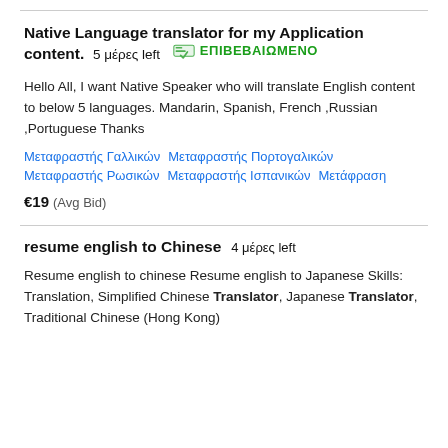Native Language translator for my Application content. 5 μέρες left ΕΠΙΒΕΒΑΙΩΜΕΝΟ
Hello All, I want Native Speaker who will translate English content to below 5 languages. Mandarin, Spanish, French ,Russian ,Portuguese Thanks
Μεταφραστής Γαλλικών   Μεταφραστής Πορτογαλικών   Μεταφραστής Ρωσικών   Μεταφραστής Ισπανικών   Μετάφραση
€19  (Avg Bid)
resume english to Chinese  4 μέρες left
Resume english to chinese Resume english to Japanese Skills: Translation, Simplified Chinese Translator, Japanese Translator, Traditional Chinese (Hong Kong)